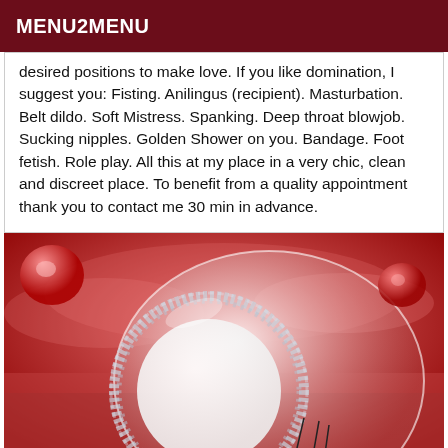MENU2MENU
desired positions to make love. If you like domination, I suggest you: Fisting. Anilingus (recipient). Masturbation. Belt dildo. Soft Mistress. Spanking. Deep throat blowjob. Sucking nipples. Golden Shower on you. Bandage. Foot fetish. Role play. All this at my place in a very chic, clean and discreet place. To benefit from a quality appointment thank you to contact me 30 min in advance.
[Figure (illustration): Decorative fantasy image with a red sky and water background, featuring a large transparent glass sphere containing a lace doily ring with a white circular center, and smaller red spherical objects in the upper corners.]